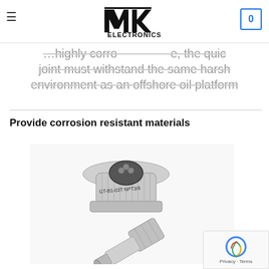MK Electronics – navigation header with logo and cart
…highly corro … e, the quick joint must withstand the same harsh environment as an offshore oil platform
Provide corrosion resistant materials
[Figure (photo): Two stainless steel hydraulic quick-connect fittings labeled GT-B1-03T NPT3/8, shown at an angle on a white background.]
Privacy · Terms